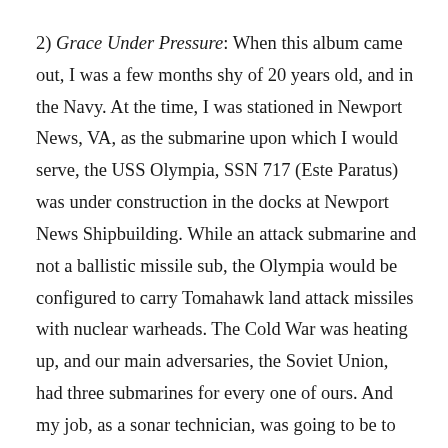2) Grace Under Pressure: When this album came out, I was a few months shy of 20 years old, and in the Navy. At the time, I was stationed in Newport News, VA, as the submarine upon which I would serve, the USS Olympia, SSN 717 (Este Paratus) was under construction in the docks at Newport News Shipbuilding. While an attack submarine and not a ballistic missile sub, the Olympia would be configured to carry Tomahawk land attack missiles with nuclear warheads. The Cold War was heating up, and our main adversaries, the Soviet Union, had three submarines for every one of ours. And my job, as a sonar technician, was going to be to find theirs before they found us. In short, there was a certain “heaviness” in my life at the